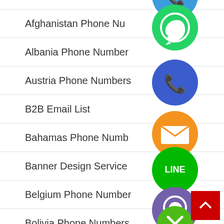Afghanistan Phone Nu...
Albania Phone Number
Austria Phone Numbers
B2B Email List
Bahamas Phone Numb...
Banner Design Service
Belgium Phone Number
Bolivia Phone Numbers
[Figure (illustration): Stacked social media / contact icons: WhatsApp (green), phone/Viber blue, email/envelope orange, LINE green, Viber purple, close/X green, overlapping vertically along the right side of the list]